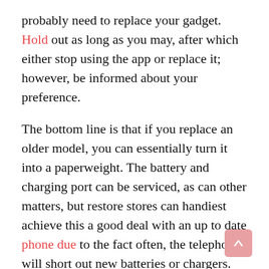probably need to replace your gadget. Hold out as long as you may, after which either stop using the app or replace it; however, be informed about your preference.
The bottom line is that if you replace an older model, you can essentially turn it into a paperweight. The battery and charging port can be serviced, as can other matters, but restore stores can handiest achieve this a good deal with an up to date phone due to the fact often, the telephone will short out new batteries or chargers. Be aware of what you’re doing along with your telephone, and also be mindful of the effect of purchasing a brand new, slightly modified cellphone every year.
Property control maybe a venture, particularly without the proper gear. Getting the proper software program application could be very crucial in supporting you